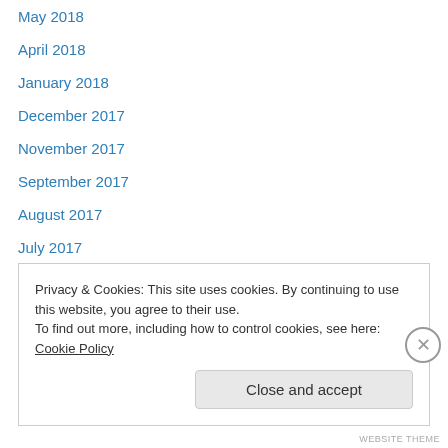May 2018
April 2018
January 2018
December 2017
November 2017
September 2017
August 2017
July 2017
June 2017
May 2017
April 2017
March 2017
February 2017
Privacy & Cookies: This site uses cookies. By continuing to use this website, you agree to their use. To find out more, including how to control cookies, see here: Cookie Policy
Close and accept
WEBSITE THEME